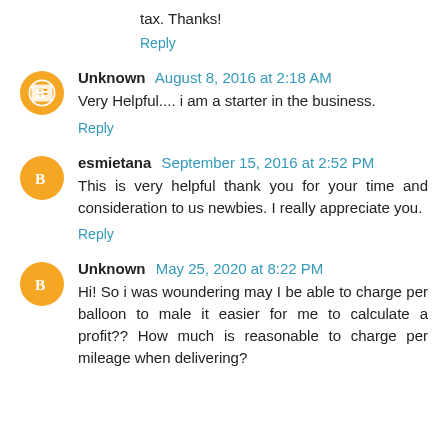tax. Thanks!
Reply
Unknown  August 8, 2016 at 2:18 AM
Very Helpful.... i am a starter in the business.
Reply
esmietana  September 15, 2016 at 2:52 PM
This is very helpful thank you for your time and consideration to us newbies. I really appreciate you.
Reply
Unknown  May 25, 2020 at 8:22 PM
Hi! So i was woundering may I be able to charge per balloon to male it easier for me to calculate a profit?? How much is reasonable to charge per mileage when delivering?